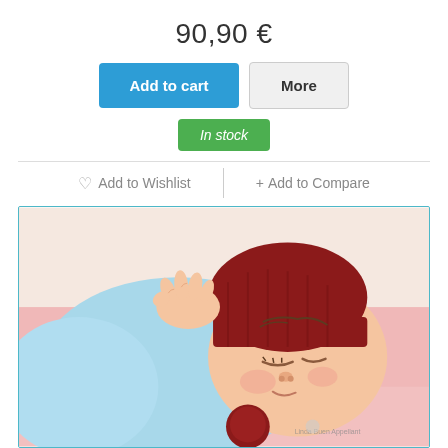90,90 €
Add to cart
More
In stock
♡ Add to Wishlist
+ Add to Compare
[Figure (photo): A realistic sleeping baby doll wearing a dark red knitted hat with pom-pom and a light blue outfit, lying on a pink surface. The doll has detailed facial features and tiny hands raised near its face.]